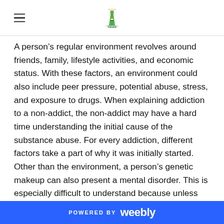[Sanata logo]
A person’s regular environment revolves around friends, family, lifestyle activities, and economic status. With these factors, an environment could also include peer pressure, potential abuse, stress, and exposure to drugs. When explaining addiction to a non-addict, the non-addict may have a hard time understanding the initial cause of the substance abuse. For every addiction, different factors take a part of why it was initially started. Other than the environment, a person’s genetic makeup can also present a mental disorder. This is especially difficult to understand because unless you’re pre-diagnosed, the addiction is not necessarily foreseen. There are also stages in an individual’s life that also affect a person’s risk for addiction. Teens are in a dangerous and vulnerable time of their lives where drug use is deemed trendy. It sounds horrible, and it is. The brain
POWERED BY weebly